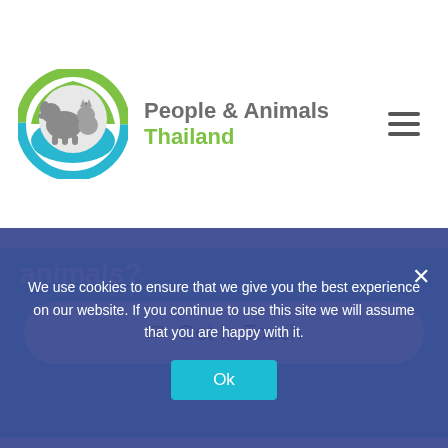[Figure (logo): People & Animals Thailand logo with circular icon showing dog and cat silhouettes in green and blue circle, with text 'People & Animals' in gray and 'Thailand' in green]
animals?
Get In Touch
Get Connected
We use cookies to ensure that we give you the best experience on our website. If you continue to use this site we will assume that you are happy with it.
Ok